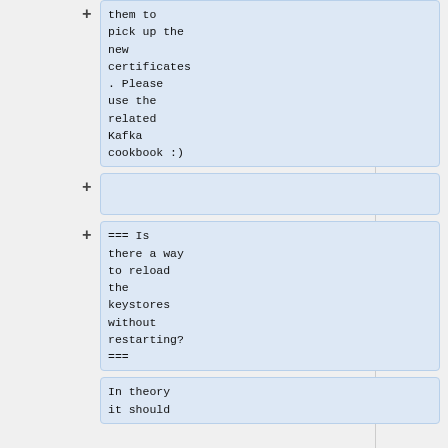them to pick up the new certificates. Please use the related Kafka cookbook :)
=== Is there a way to reload the keystores without restarting? ===
In theory it should